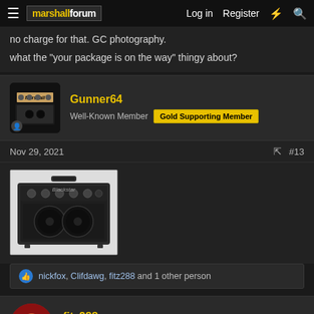Marshall Forum — Log in | Register
no charge for that. GC photography.
what the "your package is on the way" thingy about?
Gunner64
Well-Known Member | Gold Supporting Member
Nov 29, 2021  #13
[Figure (photo): Photo of a Blackstar guitar amplifier combo, small practice amp, dark color]
nickfox, Clifdawg, fitz288 and 1 other person
fitz288
Well-Known Yinzer | Gold Supporting Member